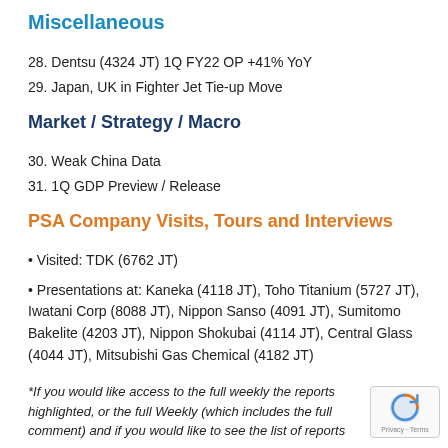Miscellaneous
28. Dentsu (4324 JT) 1Q FY22 OP +41% YoY
29. Japan, UK in Fighter Jet Tie-up Move
Market / Strategy / Macro
30. Weak China Data
31. 1Q GDP Preview / Release
PSA Company Visits, Tours and Interviews
Visited: TDK (6762 JT)
Presentations at: Kaneka (4118 JT), Toho Titanium (5727 JT), Iwatani Corp (8088 JT), Nippon Sanso (4091 JT), Sumitomo Bakelite (4203 JT), Nippon Shokubai (4114 JT), Central Glass (4044 JT), Mitsubishi Gas Chemical (4182 JT)
*If you would like access to the full weekly the reports highlighted, or the full Weekly (which includes the full comment) and if you would like to see the list of reports